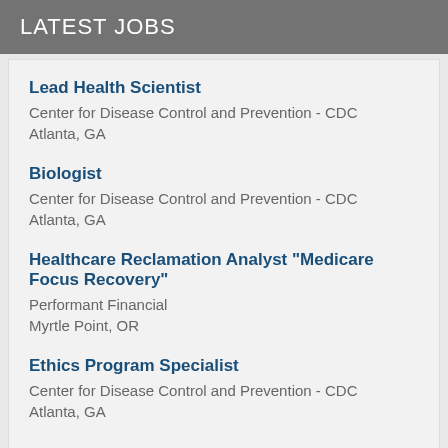LATEST JOBS
Lead Health Scientist
Center for Disease Control and Prevention - CDC
Atlanta, GA
Biologist
Center for Disease Control and Prevention - CDC
Atlanta, GA
Healthcare Reclamation Analyst "Medicare Focus Recovery"
Performant Financial
Myrtle Point, OR
Ethics Program Specialist
Center for Disease Control and Prevention - CDC
Atlanta, GA
ABOUT OUR PARTNERS